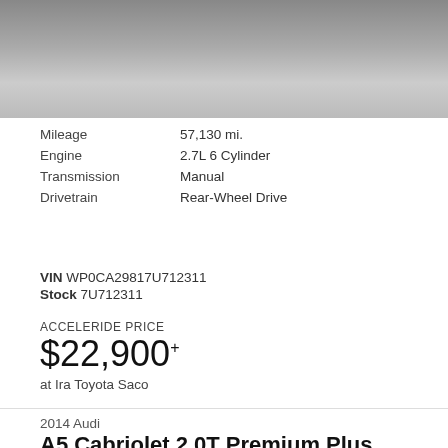[Figure (photo): Partial view of a car on a tiled floor, cropped to show just the lower portion of the vehicle]
| Mileage | 57,130 mi. |
| Engine | 2.7L 6 Cylinder |
| Transmission | Manual |
| Drivetrain | Rear-Wheel Drive |
VIN WP0CA29817U712311
Stock 7U712311
ACCELERIDE PRICE
$22,900+
at Ira Toyota Saco
2014 Audi
A5 Cabriolet 2.0T Premium Plus